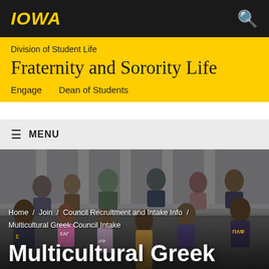[Figure (logo): University of Iowa IOWA wordmark in gold italic bold text on black background with search icon]
Division of Student Life
Fraternity and Sorority Life
Engage    Dean of Students
≡  MENU
[Figure (photo): Group photo of multicultural Greek council students standing on steps of a building, wearing Greek letter apparel including Sigma, Lambda Alpha, Pi Alpha Phi jackets and shirts]
Home / Join / Council Recruitment and Intake Info / Multicultural Greek Council Intake
Multicultural Greek